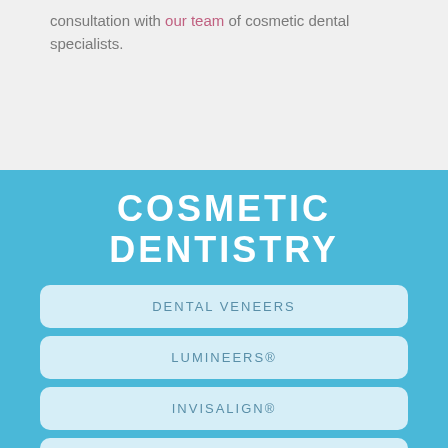consultation with our team of cosmetic dental specialists.
COSMETIC DENTISTRY
DENTAL VENEERS
LUMINEERS®
INVISALIGN®
COMPLETE SMILE MAKEOVERS